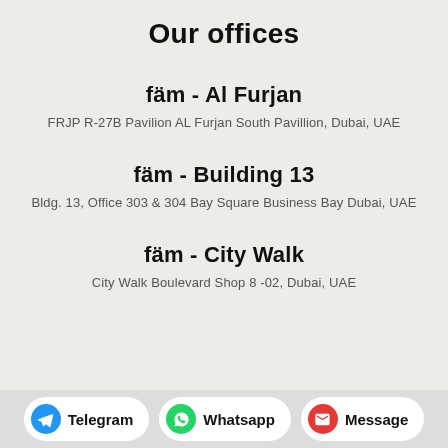Our offices
fäm - Al Furjan
FRJP R-27B Pavilion AL Furjan South Pavillion, Dubai, UAE
fäm - Building 13
Bldg. 13, Office 303 & 304 Bay Square Business Bay Dubai, UAE
fäm - City Walk
City Walk Boulevard Shop 8 -02, Dubai, UAE
Telegram  Whatsapp  Message